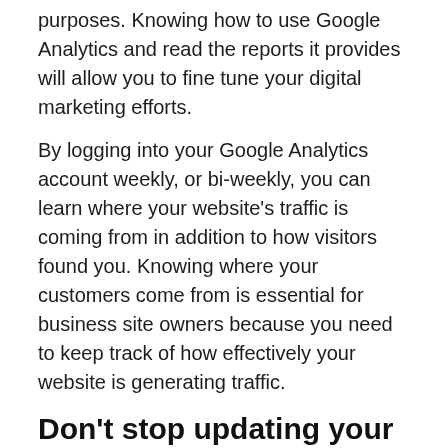purposes. Knowing how to use Google Analytics and read the reports it provides will allow you to fine tune your digital marketing efforts.
By logging into your Google Analytics account weekly, or bi-weekly, you can learn where your website's traffic is coming from in addition to how visitors found you. Knowing where your customers come from is essential for business site owners because you need to keep track of how effectively your website is generating traffic.
Don't stop updating your website
As you know, one of the biggest mistakes business owners make when designing their website is to